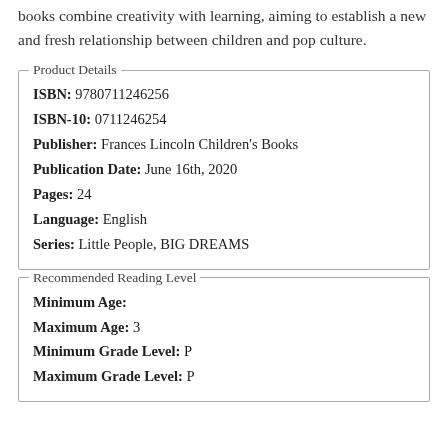books combine creativity with learning, aiming to establish a new and fresh relationship between children and pop culture.
Product Details
ISBN: 9780711246256
ISBN-10: 0711246254
Publisher: Frances Lincoln Children's Books
Publication Date: June 16th, 2020
Pages: 24
Language: English
Series: Little People, BIG DREAMS
Recommended Reading Level
Minimum Age:
Maximum Age: 3
Minimum Grade Level: P
Maximum Grade Level: P